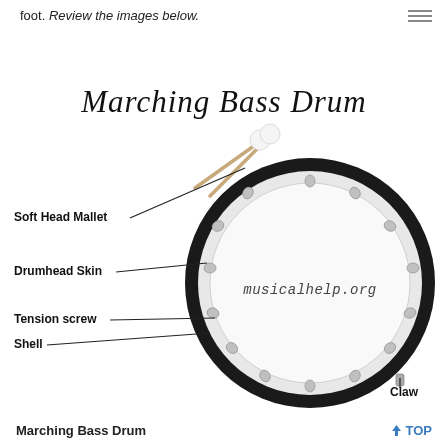foot. Review the images below.
[Figure (illustration): Labeled diagram of a Marching Bass Drum showing parts: Soft Head Mallet, Drumhead Skin, Tension screw, Shell, Claw. The drum is shown from the front with two mallets crossing above it. Labels with lines point to each part. The drum face shows 'musicalhelp.org'. Title reads 'Marching Bass Drum' in cursive script.]
Marching Bass Drum